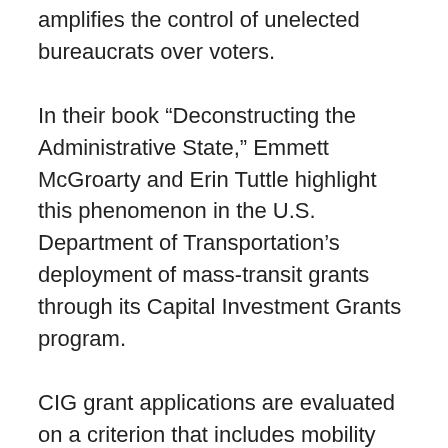amplifies the control of unelected bureaucrats over voters.
In their book “Deconstructing the Administrative State,” Emmett McGroarty and Erin Tuttle highlight this phenomenon in the U.S. Department of Transportation’s deployment of mass-transit grants through its Capital Investment Grants program.
CIG grant applications are evaluated on a criterion that includes mobility improvements, environmental benefits, congestion relief, cost-effectiveness, land use and economic development. That has put pressure on state and local governments to change local zoning codes to allow for the creation of high-density, mixed-use developments.